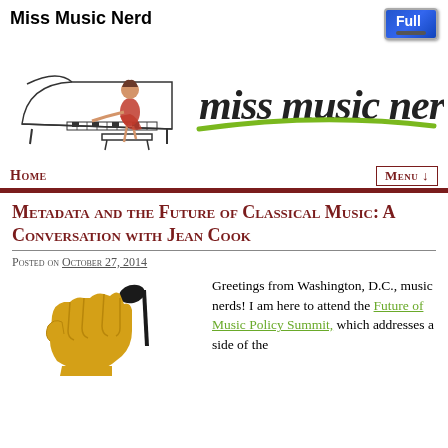Miss Music Nerd
[Figure (logo): Miss Music Nerd logo with illustration of woman playing piano and cursive text 'miss music nerd' with green swoosh underline]
HOME   MENU ↓
Metadata and the Future of Classical Music: A Conversation with Jean Cook
Posted on October 27, 2014
[Figure (illustration): Illustration of a raised fist holding a music note]
Greetings from Washington, D.C., music nerds! I am here to attend the Future of Music Policy Summit, which addresses a side of the